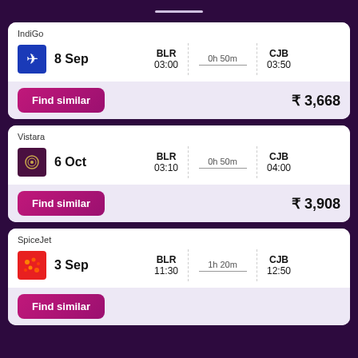IndiGo
8 Sep BLR 03:00 0h 50m CJB 03:50
Find similar ₹ 3,668
Vistara
6 Oct BLR 03:10 0h 50m CJB 04:00
Find similar ₹ 3,908
SpiceJet
3 Sep BLR 11:30 1h 20m CJB 12:50
Find similar